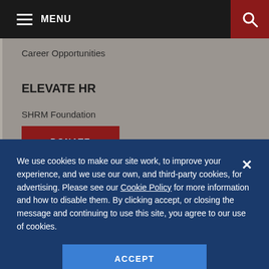MENU
Career Opportunities
ELEVATE HR
SHRM Foundation
DONATE
We use cookies to make our site work, to improve your experience, and we use our own, and third-party cookies, for advertising. Please see our Cookie Policy for more information and how to disable them. By clicking accept, or closing the message and continuing to use this site, you agree to our use of cookies.
ACCEPT